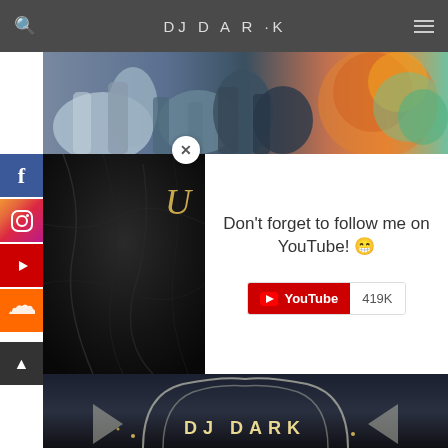DJ DARK - navigation bar with logo, search, and menu icons
[Figure (photo): A cropped photo of a crowd at an outdoor festival with colorful clothing and a blurred colorful balloon/sphere visible on the right]
[Figure (screenshot): A popup overlay showing album art on the left with a gold U logo on dark marble background, and on the right white background with text 'Don't forget to follow me on YouTube! 😁' and a YouTube subscribe button showing 419K subscribers]
Don't forget to follow me on YouTube! 😁
[Figure (photo): Bottom section showing DJ Dark promotional image with gothic arch structures and 'DJ DARK' text in gold letters on dark background]